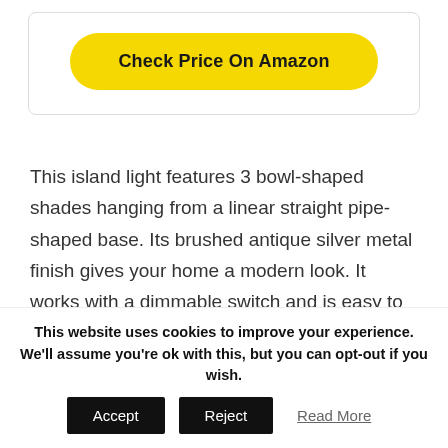[Figure (other): Yellow rounded button labeled 'Check Price On Amazon' inside a white card with border]
This island light features 3 bowl-shaped shades hanging from a linear straight pipe-shaped base. Its brushed antique silver metal finish gives your home a modern look. It works with a dimmable switch and is easy to install. This island light can be used in almost all areas of your home.
This website uses cookies to improve your experience. We'll assume you're ok with this, but you can opt-out if you wish.
Accept   Reject   Read More